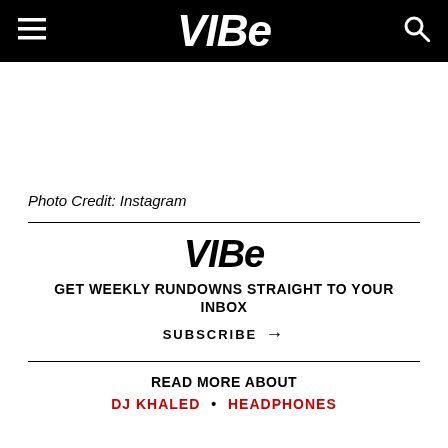VIBE
Photo Credit: Instagram
VIBE
GET WEEKLY RUNDOWNS STRAIGHT TO YOUR INBOX
SUBSCRIBE →
READ MORE ABOUT
DJ KHALED • HEADPHONES